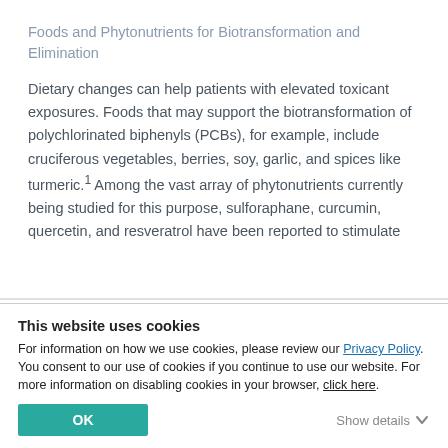Foods and Phytonutrients for Biotransformation and Elimination
Dietary changes can help patients with elevated toxicant exposures. Foods that may support the biotransformation of polychlorinated biphenyls (PCBs), for example, include cruciferous vegetables, berries, soy, garlic, and spices like turmeric.¹ Among the vast array of phytonutrients currently being studied for this purpose, sulforaphane, curcumin, quercetin, and resveratrol have been reported to stimulate
This website uses cookies
For information on how we use cookies, please review our Privacy Policy. You consent to our use of cookies if you continue to use our website. For more information on disabling cookies in your browser, click here.